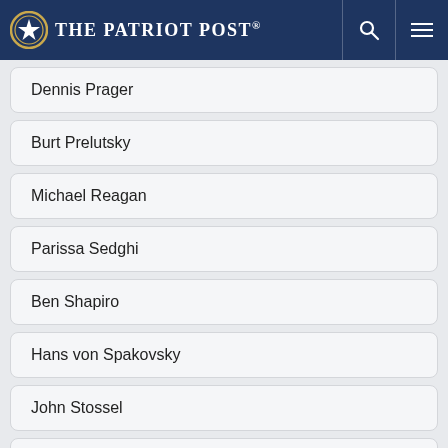The Patriot Post
Dennis Prager
Burt Prelutsky
Michael Reagan
Parissa Sedghi
Ben Shapiro
Hans von Spakovsky
John Stossel